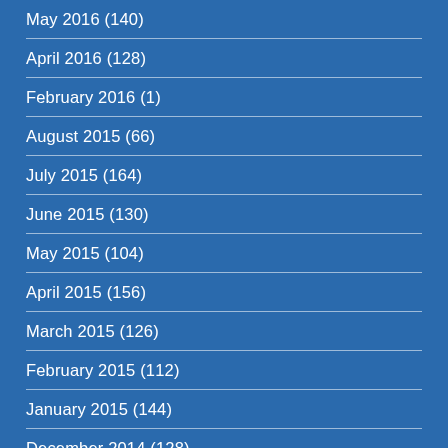May 2016 (140)
April 2016 (128)
February 2016 (1)
August 2015 (66)
July 2015 (164)
June 2015 (130)
May 2015 (104)
April 2015 (156)
March 2015 (126)
February 2015 (112)
January 2015 (144)
December 2014 (128)